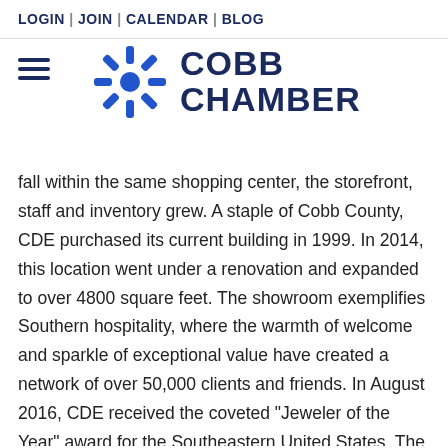LOGIN | JOIN | CALENDAR | BLOG
[Figure (logo): Cobb Chamber logo with stylized sunburst icon and text COBB CHAMBER in dark navy blue]
fall within the same shopping center, the storefront, staff and inventory grew. A staple of Cobb County, CDE purchased its current building in 1999. In 2014, this location went under a renovation and expanded to over 4800 square feet. The showroom exemplifies Southern hospitality, where the warmth of welcome and sparkle of exceptional value have created a network of over 50,000 clients and friends. In August 2016, CDE received the coveted "Jeweler of the Year" award for the Southeastern United States. The 24Karat Club picks one store each year from a multitude of extremely qualified nominees. CDE was chosen for our dedication and love of the jewelry industry, and our commitment to civic duties above and